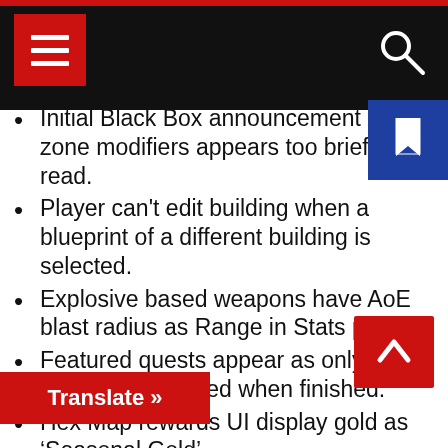Navigation header with hamburger menu and search icon
Initial Black Box announcement of zone modifiers appears too briefly to read.
Player can't edit building when a blueprint of a different building is selected.
Explosive based weapons have AoE blast radius as Range in Stats page.
Featured quests appear as only partially completed when finished.
Hex Map rewards UI display gold as 'Seasonal Gold'.
Owned Dragon Weapons could roll invalid perk configurations.
The Play Now button for the “Want to Build a H...uest can take players to non-City ...functionality will be removed from